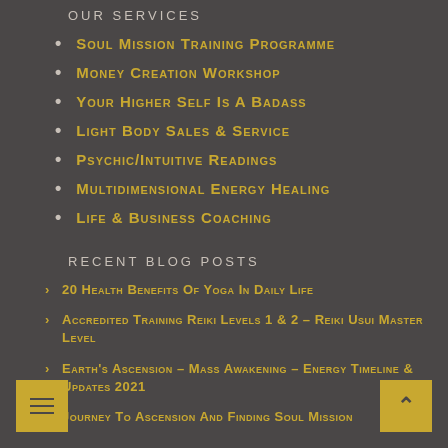OUR SERVICES
Soul Mission Training Programme
Money Creation Workshop
Your Higher Self Is A Badass
Light Body Sales & Service
Psychic/Intuitive Readings
Multidimensional Energy Healing
Life & Business Coaching
RECENT BLOG POSTS
20 Health Benefits of Yoga in Daily Life
Accredited Training Reiki Levels 1 & 2 – Reiki Usui Master Level
Earth's Ascension – Mass Awakening – Energy Timeline & Updates 2021
Journey to Ascension and Finding Soul Mission